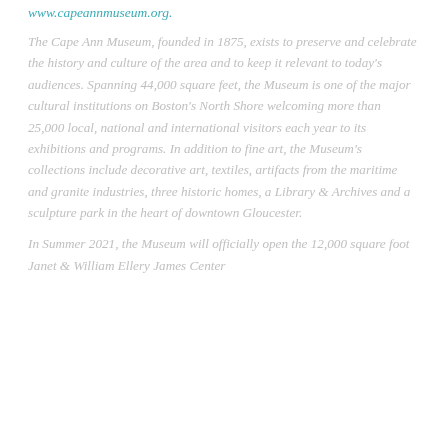www.capeannmuseum.org.
The Cape Ann Museum, founded in 1875, exists to preserve and celebrate the history and culture of the area and to keep it relevant to today's audiences. Spanning 44,000 square feet, the Museum is one of the major cultural institutions on Boston's North Shore welcoming more than 25,000 local, national and international visitors each year to its exhibitions and programs. In addition to fine art, the Museum's collections include decorative art, textiles, artifacts from the maritime and granite industries, three historic homes, a Library & Archives and a sculpture park in the heart of downtown Gloucester.
In Summer 2021, the Museum will officially open the 12,000 square foot Janet & William Ellery James Center